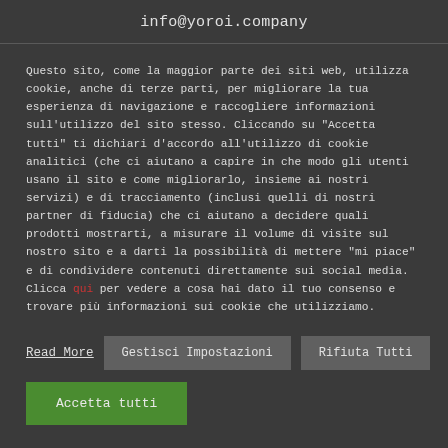info@yoroi.company
Questo sito, come la maggior parte dei siti web, utilizza cookie, anche di terze parti, per migliorare la tua esperienza di navigazione e raccogliere informazioni sull'utilizzo del sito stesso. Cliccando su "Accetta tutti" ti dichiari d'accordo all'utilizzo di cookie analitici (che ci aiutano a capire in che modo gli utenti usano il sito e come migliorarlo, insieme ai nostri servizi) e di tracciamento (inclusi quelli di nostri partner di fiducia) che ci aiutano a decidere quali prodotti mostrarti, a misurare il volume di visite sul nostro sito e a darti la possibilità di mettere "mi piace" e di condividere contenuti direttamente sui social media. Clicca qui per vedere a cosa hai dato il tuo consenso e trovare più informazioni sui cookie che utilizziamo.
Read More
Gestisci Impostazioni
Rifiuta Tutti
Accetta tutti